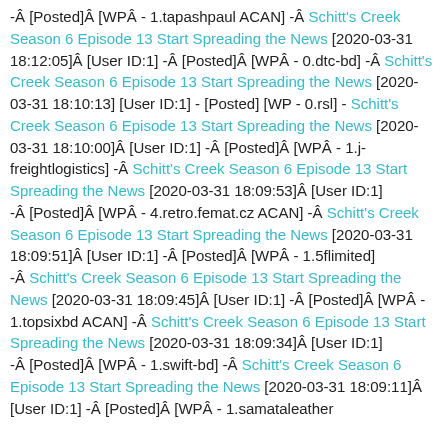-Â [Posted]Â [WPÂ - 1.tapashpaul ACAN] -Â Schitt's Creek Season 6 Episode 13 Start Spreading the News [2020-03-31 18:12:05]Â [User ID:1] -Â [Posted]Â [WPÂ - 0.dtc-bd] -Â Schitt's Creek Season 6 Episode 13 Start Spreading the News [2020-03-31 18:10:13] [User ID:1] - [Posted] [WP - 0.rsl] - Schitt's Creek Season 6 Episode 13 Start Spreading the News [2020-03-31 18:10:00]Â [User ID:1] -Â [Posted]Â [WPÂ - 1.j-freightlogistics] -Â Schitt's Creek Season 6 Episode 13 Start Spreading the News [2020-03-31 18:09:53]Â [User ID:1] -Â [Posted]Â [WPÂ - 4.retro.femat.cz ACAN] -Â Schitt's Creek Season 6 Episode 13 Start Spreading the News [2020-03-31 18:09:51]Â [User ID:1] -Â [Posted]Â [WPÂ - 1.5flimited] -Â Schitt's Creek Season 6 Episode 13 Start Spreading the News [2020-03-31 18:09:45]Â [User ID:1] -Â [Posted]Â [WPÂ - 1.topsixbd ACAN] -Â Schitt's Creek Season 6 Episode 13 Start Spreading the News [2020-03-31 18:09:34]Â [User ID:1] -Â [Posted]Â [WPÂ - 1.swift-bd] -Â Schitt's Creek Season 6 Episode 13 Start Spreading the News [2020-03-31 18:09:11]Â [User ID:1] -Â [Posted]Â [WPÂ - 1.samataleather